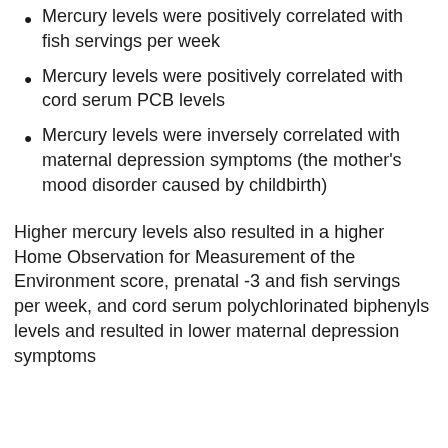Mercury levels were positively correlated with fish servings per week
Mercury levels were positively correlated with cord serum PCB levels
Mercury levels were inversely correlated with maternal depression symptoms (the mother’s mood disorder caused by childbirth)
Higher mercury levels also resulted in a higher Home Observation for Measurement of the Environment score, prenatal -3 and fish servings per week, and cord serum polychlorinated biphenyls levels and resulted in lower maternal depression symptoms